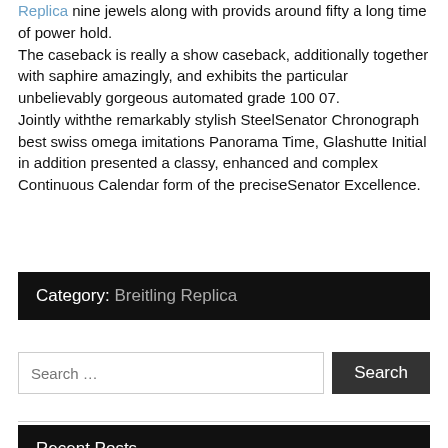Replica nine jewels along with provids around fifty a long time of power hold. The caseback is really a show caseback, additionally together with saphire amazingly, and exhibits the particular unbelievably gorgeous automated grade 100 07. Jointly withthe remarkably stylish SteelSenator Chronograph best swiss omega imitations Panorama Time, Glashutte Initial in addition presented a classy, enhanced and complex Continuous Calendar form of the preciseSenator Excellence.
Category: Breitling Replica
Search ...
Recent Posts